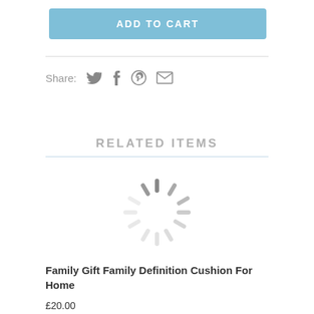ADD TO CART
Share:
RELATED ITEMS
[Figure (illustration): Loading spinner (animated wheel) indicating content is loading]
Family Gift Family Definition Cushion For Home
£20.00